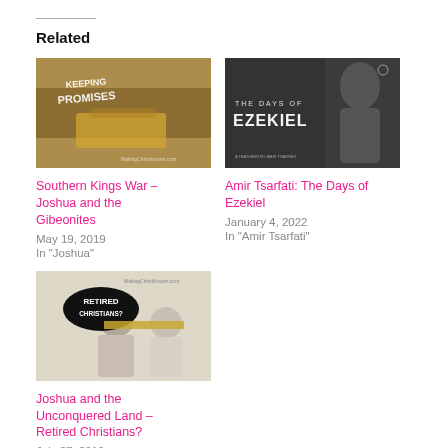Related
[Figure (photo): Image for 'Southern Kings War – Joshua and the Gibeonites' showing hands on a bible with text KEEPING PROMISES]
Southern Kings War – Joshua and the Gibeonites
May 19, 2019
In "Joshua"
[Figure (photo): Dark moody image reading THE DAYS OF EZEKIEL]
Amir Tsarfati: The Days of Ezekiel
January 4, 2022
In "Amir Tsarfati"
[Figure (photo): Image reading RETIRED CHRISTIANS? with two elderly people from behind]
Joshua and the Unconquered Land – Retired Christians?
July 27, 2019
In "Joshua"